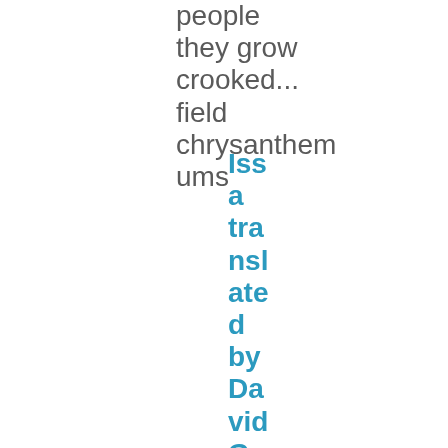people they grow crooked... field chrysanthemums
Issa translated by David G. Lanoue